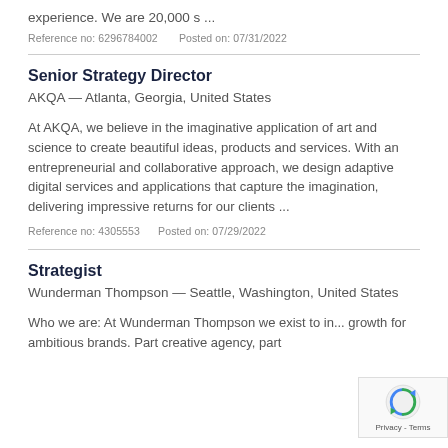experience. We are 20,000 s ...
Reference no: 6296784002      Posted on: 07/31/2022
Senior Strategy Director
AKQA — Atlanta, Georgia, United States
At AKQA, we believe in the imaginative application of art and science to create beautiful ideas, products and services. With an entrepreneurial and collaborative approach, we design adaptive digital services and applications that capture the imagination, delivering impressive returns for our clients ...
Reference no: 4305553      Posted on: 07/29/2022
Strategist
Wunderman Thompson — Seattle, Washington, United States
Who we are: At Wunderman Thompson we exist to in... growth for ambitious brands. Part creative agency, part